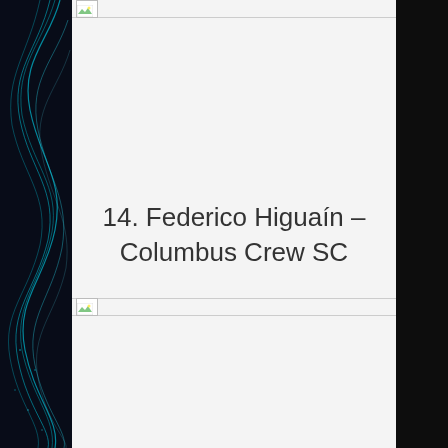[Figure (illustration): Dark abstract background with glowing teal/cyan curved lines on left sidebar]
[Figure (other): Broken image placeholder at top of main content area]
14. Federico Higuaín – Columbus Crew SC
[Figure (other): Broken image placeholder below title]